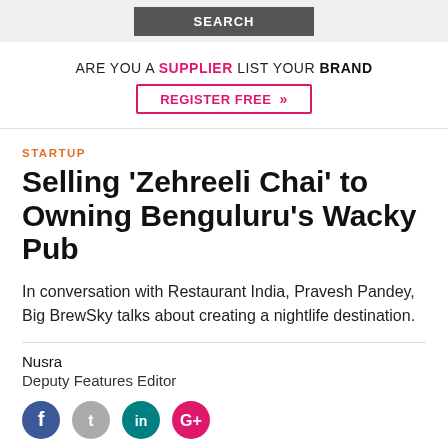SEARCH
ARE YOU A SUPPLIER LIST YOUR BRAND
REGISTER FREE »
STARTUP
Selling ‘Zehreeli Chai’ to Owning Benguluru’s Wacky Pub
In conversation with Restaurant India, Pravesh Pandey, Big BrewSky talks about creating a nightlife destination.
Nusra
Deputy Features Editor